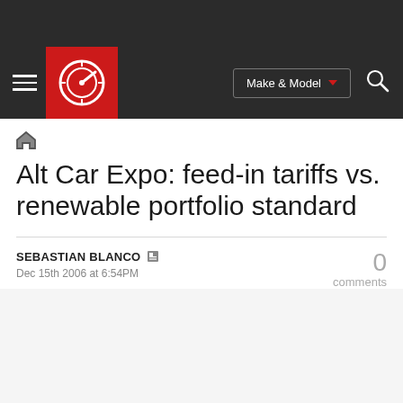Autoblog navigation bar with logo, Make & Model selector, and search
Alt Car Expo: feed-in tariffs vs. renewable portfolio standard
SEBASTIAN BLANCO
Dec 15th 2006 at 6:54PM
0 comments